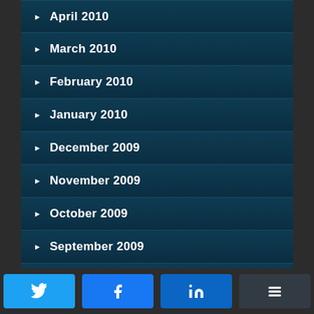April 2010
March 2010
February 2010
January 2010
December 2009
November 2009
October 2009
September 2009
August 2009
July 2009
Twitter | Facebook | LinkedIn | Buffer